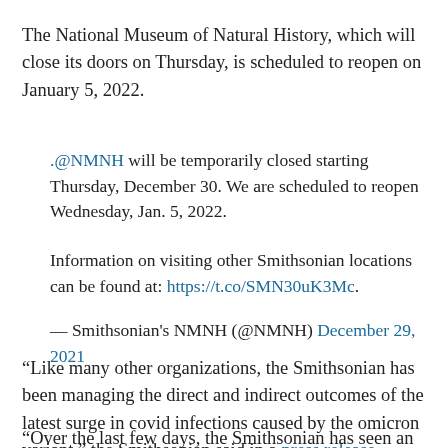The National Museum of Natural History, which will close its doors on Thursday, is scheduled to reopen on January 5, 2022.
.@NMNH will be temporarily closed starting Thursday, December 30. We are scheduled to reopen Wednesday, Jan. 5, 2022.
Information on visiting other Smithsonian locations can be found at: https://t.co/SMN30uK3Mc.
— Smithsonian's NMNH (@NMNH) December 29, 2021
“Like many other organizations, the Smithsonian has been managing the direct and indirect outcomes of the latest surge in covid infections caused by the omicron variant,” the Smithsonian said in a press release.
“Over the last few days, the Smithsonian has seen an increase